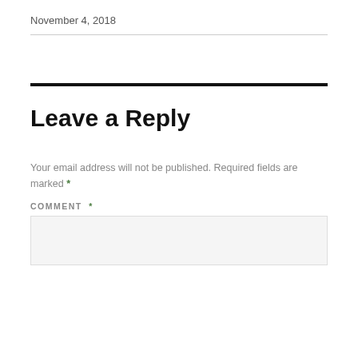November 4, 2018
Leave a Reply
Your email address will not be published. Required fields are marked *
COMMENT *